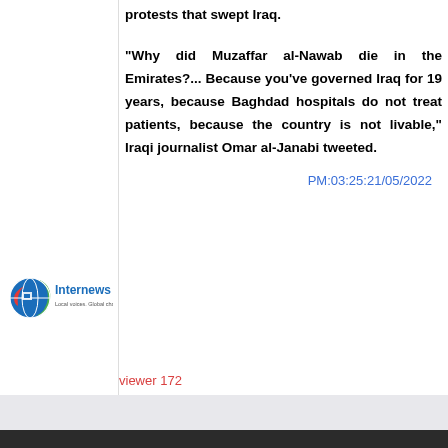protests that swept Iraq.
[Figure (logo): Internews logo with globe icon and tagline 'Local voices. Global change.']
"Why did Muzaffar al-Nawab die in the Emirates?... Because you've governed Iraq for 19 years, because Baghdad hospitals do not treat patients, because the country is not livable," Iraqi journalist Omar al-Janabi tweeted.
PM:03:25:21/05/2022
viewer 172